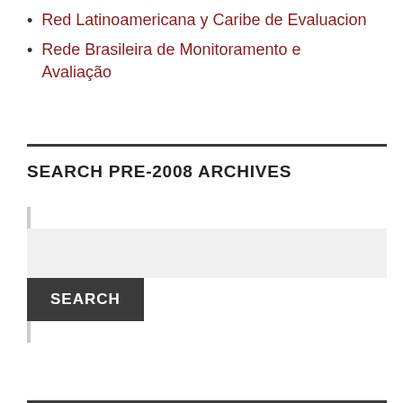Red Latinoamericana y Caribe de Evaluacion
Rede Brasileira de Monitoramento e Avaliação
SEARCH PRE-2008 ARCHIVES
SEARCH